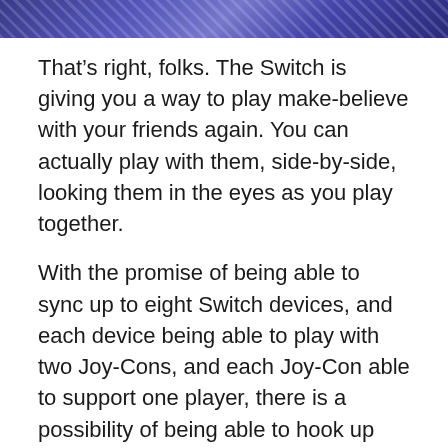[Figure (photo): Partial image at top of page with blue/purple tones and mesh/net pattern visible]
That’s right, folks. The Switch is giving you a way to play make-believe with your friends again. You can actually play with them, side-by-side, looking them in the eyes as you play together.
With the promise of being able to sync up to eight Switch devices, and each device being able to play with two Joy-Cons, and each Joy-Con able to support one player, there is a possibility of being able to hook up sixteen of your friends to all play together.
Just the Facts
The Nintendo Switch is offering online play, as mentioned, but they are jumping on the bandwagon of their friends over at Sony and Microsoft and using a subscription